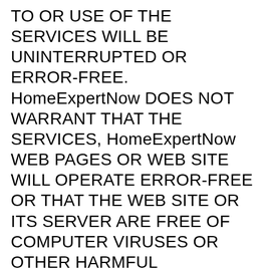TO OR USE OF THE SERVICES WILL BE UNINTERRUPTED OR ERROR-FREE. HomeExpertNow DOES NOT WARRANT THAT THE SERVICES, HomeExpertNow WEB PAGES OR WEB SITE WILL OPERATE ERROR-FREE OR THAT THE WEB SITE OR ITS SERVER ARE FREE OF COMPUTER VIRUSES OR OTHER HARMFUL MECHANISMS. YOU UNDERSTAND AND AGREE THAT YOU DOWNLOAD OR OTHERWISE OBTAIN MATERIAL OR DATA THROUGH THE USE OF HomeExpertNow'S WEB PAGES OR SERVICES AT YOUR OWN DISCRETION AND RISK AND THAT YOU WILL BE SOLELY RESPONSIBLE FOR ANY DAMAGES TO YOUR COMPUTER SYSTEM OR LOSS OF DATA THAT RESULTS FROM THE DOWNLOAD OF SUCH MATERIAL OR DATA. IF YOUR USE OF THE HomeExpertNow WEBSITES OR THE SERVICES